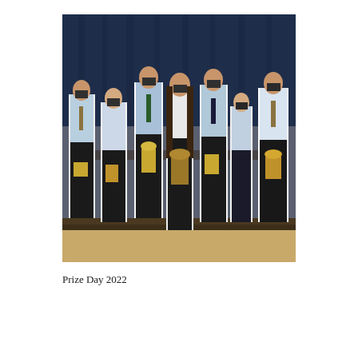[Figure (photo): Group photo of approximately 7-8 students wearing face masks and formal school uniforms (light blue shirts, black trousers/skirts), each holding trophies or awards, standing on a stage with dark blue curtains in the background. Prize Day 2022 school ceremony.]
Prize Day 2022